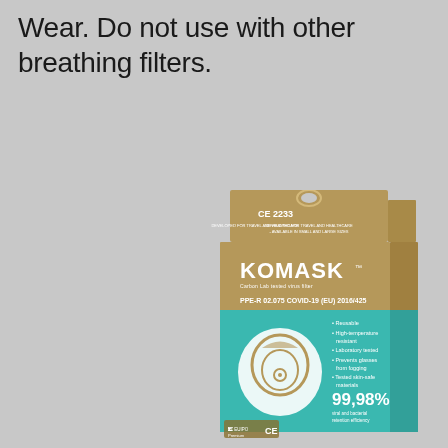Wear. Do not use with other breathing filters.
[Figure (photo): Product box of KOMASK PPE-R respirator mask. Brown cardboard box with teal lower section. Shows CE 2233 marking, 'DEVELOPED FOR TRAVEL AND HEALTHCARE - AVAILABLE IN SMALL AND LARGE SIZES', KOMASK logo, 'PPE-R 02.075 COVID-19 (EU) 2016/425', features list including Reusable, High-temperature resistant, Laboratory tested, Prevents glasses from fogging, Tested skin-safe materials, 99.98% viral and bacterial retention efficiency. Shows EUIPO Premium and CE markings.]